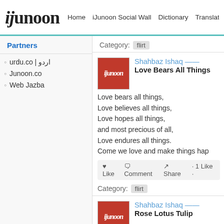ijunoon | Home | iJunoon Social Wall | Dictionary | Translate | Transli...
Partners
urdu.co | اردو
Junoon.co
Web Jazba
Category: flirt
Shahbaz Ishaq
Love Bears All Things

Love bears all things,
Love believes all things,
Love hopes all things,
and most precious of all,
Love endures all things.
Come we love and make things hap...
♥ Like  Comment  Share · 1 Like ·
Category: flirt
Shahbaz Ishaq
Rose Lotus Tulip